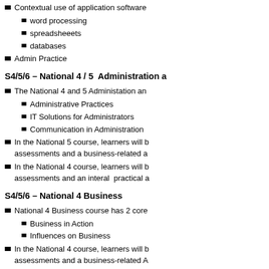Contextual use of application software
word processing
spreadsheeets
databases
Admin Practice
S4/5/6 – National 4 / 5  Administration a
The National 4 and 5 Administation an
Administrative Practices
IT Solutions for Administrators
Communication in Administration
In the National 5 course, learners will b assessments and a business-related a
In the National 4 course, learners will b assessments and an interal  practical a
S4/5/6 – National 4 Business
National 4 Business course has 2 core
Business in Action
Influences on Business
In the National 4 course, learners will b assessments and a business-related A
S4/5/6 – National 5 Business Managem